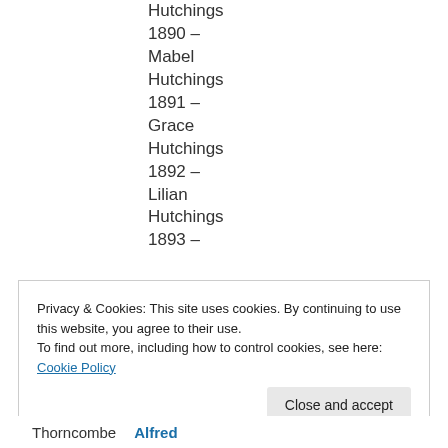Hutchings
1890 –
Mabel Hutchings
1891 –
Grace Hutchings
1892 –
Lilian Hutchings
1893 –
Privacy & Cookies: This site uses cookies. By continuing to use this website, you agree to their use.
To find out more, including how to control cookies, see here: Cookie Policy
Close and accept
Thorncombe   Alfred